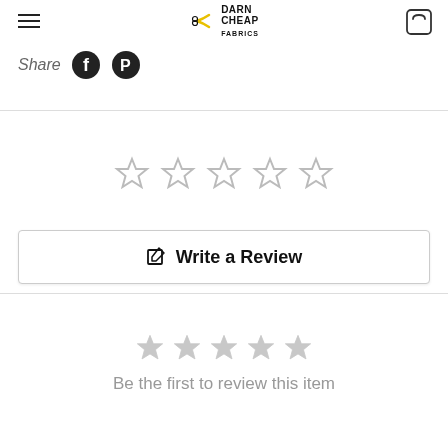Darn Cheap Fabrics
Share
[Figure (screenshot): Five empty star rating widget (outline stars, no fill)]
✎ Write a Review
[Figure (screenshot): Five empty star rating widget (lighter gray filled stars)]
Be the first to review this item